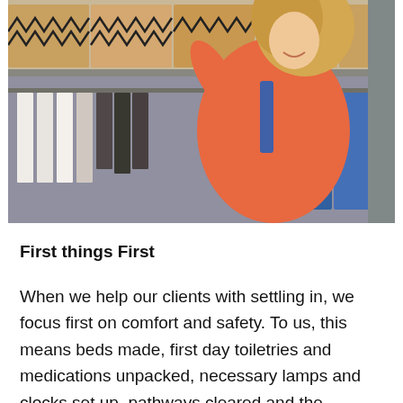[Figure (photo): A woman with curly blonde hair wearing an orange long-sleeve top and blue overalls, reaching up to organize wicker/patterned storage boxes on shelves in a closet. Below the shelves, clothes hang on metal hangers.]
First things First
When we help our clients with settling in, we focus first on comfort and safety. To us, this means beds made, first day toiletries and medications unpacked, necessary lamps and clocks set up, pathways cleared and the